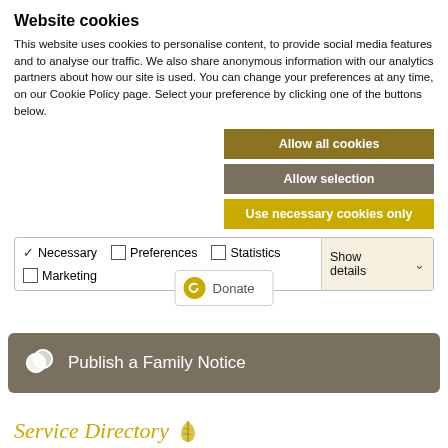Website cookies
This website uses cookies to personalise content, to provide social media features and to analyse our traffic. We also share anonymous information with our analytics partners about how our site is used. You can change your preferences at any time, on our Cookie Policy page. Select your preference by clicking one of the buttons below.
[Figure (screenshot): Three buttons: Allow all cookies (dark gold), Allow selection (gray), Use necessary cookies only (gold/yellow)]
| ✓ Necessary | ☐ Preferences | ☐ Statistics | Show details ▾ |
| ☐ Marketing |  |  |  |
[Figure (screenshot): Donate button with gold circular arrow icon]
[Figure (screenshot): Publish a Family Notice bar button with chat bubble icon, dark gray/olive background]
Service Directory